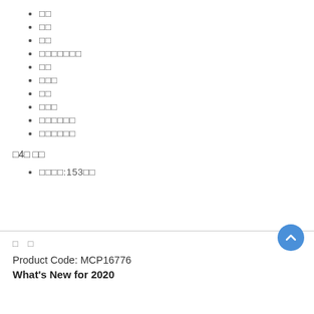□□
□□
□□
□□□□□□□
□□
□□□
□□
□□□
□□□□□□
□□□□□□
□4□ □□
□□□□:153□□
□ □
Product Code: MCP16776
What's New for 2020